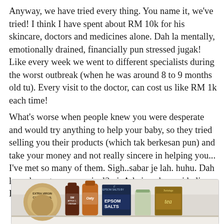Anyway, we have tried every thing. You name it, we've tried! I think I have spent about RM 10k for his skincare, doctors and medicines alone. Dah la mentally, emotionally drained, financially pun stressed jugak! Like every week we went to different specialists during the worst outbreak (when he was around 8 to 9 months old tu). Every visit to the doctor, can cost us like RM 1k each time!
What's worse when people knew you were desperate and would try anything to help your baby, so they tried selling you their products (which tak berkesan pun) and take your money and not really sincere in helping you... I've met so many of them. Sigh..sabar je lah. huhu. Dah la mak pantang orang jual2 ni. Ada je nak pergi beli. LOL xD
[Figure (photo): A shelf with various products including Extra Virgin Coconut Oil, SW Apple Cider Vinegar, an orange bottle, Epsom Salts box, a glass, and a tea box.]